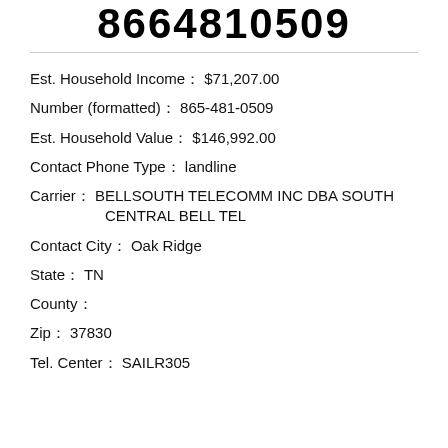8664810509
Est. Household Income :  $71,207.00
Number (formatted) :  865-481-0509
Est. Household Value :  $146,992.00
Contact Phone Type :  landline
Carrier :  BELLSOUTH TELECOMM INC DBA SOUTH CENTRAL BELL TEL
Contact City :  Oak Ridge
State :  TN
County :
Zip :  37830
Tel. Center : SAILR305